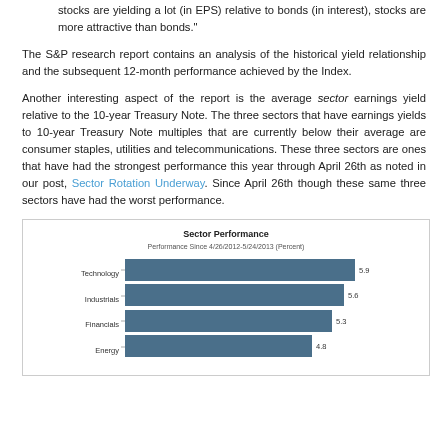stocks are yielding a lot (in EPS) relative to bonds (in interest), stocks are more attractive than bonds."
The S&P research report contains an analysis of the historical yield relationship and the subsequent 12-month performance achieved by the Index.
Another interesting aspect of the report is the average sector earnings yield relative to the 10-year Treasury Note. The three sectors that have earnings yields to 10-year Treasury Note multiples that are currently below their average are consumer staples, utilities and telecommunications. These three sectors are ones that have had the strongest performance this year through April 26th as noted in our post, Sector Rotation Underway. Since April 26th though these same three sectors have had the worst performance.
[Figure (bar-chart): Sector Performance]